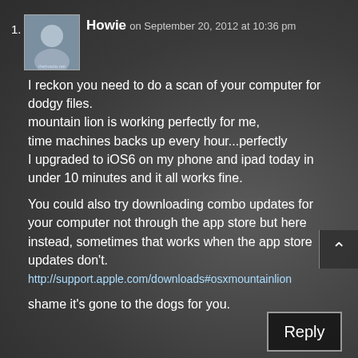1.
[Figure (photo): Small square avatar photo of a person, with text 'thehowie.net' below]
Howie on September 20, 2012 at 10:36 pm
I reckon you need to do a scan of your computer for dodgy files.
mountain lion is working perfectly for me,
time machines backs up every hour...perfectly
I upgraded to iOS6 on my phone and ipad today in under 10 minutes and it all works fine.

You could also try downloading combo updates for your computer not through the app store but here instead, sometimes that works when the app store updates don't.
http://support.apple.com/downloads#osxmountainlion

shame it's gone to the dogs for you.
Reply